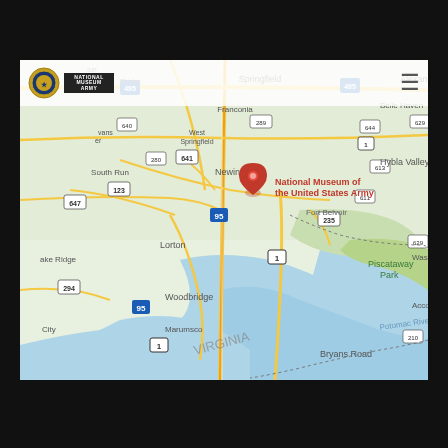[Figure (map): Google Maps screenshot showing the area around Fort Belvoir, Virginia, with a red pin marking the National Museum of the United States Army. The map shows surrounding areas including Springfield, Franconia, Belle Haven, South Run, Hybla Valley, Newington, Lorton, Lake Ridge, Woodbridge, Marumsco, Bryans Road, and Piscataway Park. The Potomac River is visible in the lower portion. Route numbers 95, 1, 495, 641, 235, 123, 294, 210 and others are labeled.]